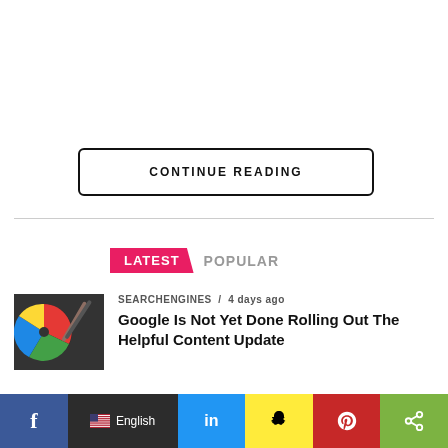CONTINUE READING
LATEST   POPULAR
[Figure (photo): Thumbnail image showing colorful circular discs resembling a color palette or vinyl record with pencils, red/green/blue/yellow colors]
SEARCHENGINES / 4 days ago
Google Is Not Yet Done Rolling Out The Helpful Content Update
[Figure (infographic): Social media sharing bar with Facebook, English language selector, LinkedIn, Snapchat, Pinterest, and Share icons]